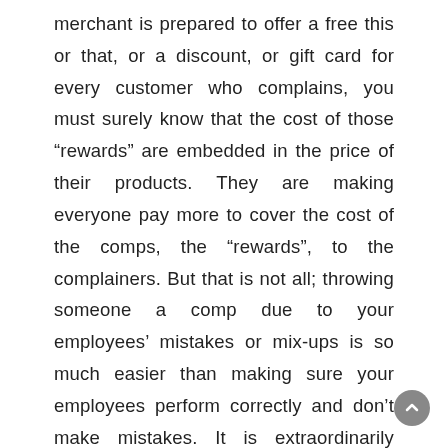merchant is prepared to offer a free this or that, or a discount, or gift card for every customer who complains, you must surely know that the cost of those “rewards” are embedded in the price of their products. They are making everyone pay more to cover the cost of the comps, the “rewards”, to the complainers. But that is not all; throwing someone a comp due to your employees’ mistakes or mix-ups is so much easier than making sure your employees perform correctly and don’t make mistakes. It is extraordinarily difficult to train and monitor employees to ensure that they are performing properly and to your expectations. So much so that I believe many employers have given up and accepted that their employees are going to make mistakes and package the wrong food into the wrong bag or not package it at all; that their workers are going to be rude or unprofessional to